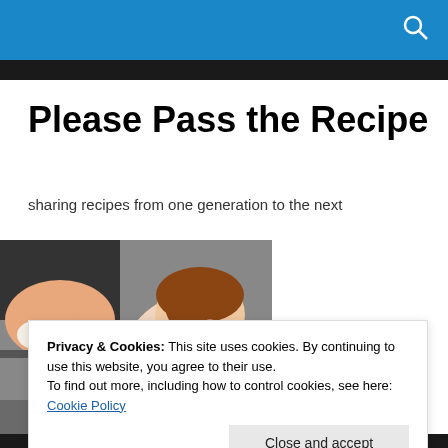Please Pass the Recipe
sharing recipes from one generation to the next
[Figure (illustration): Illustrated image of an adult and a young child cooking together, in a stylized graphic art style with warm colors]
Privacy & Cookies: This site uses cookies. By continuing to use this website, you agree to their use.
To find out more, including how to control cookies, see here: Cookie Policy
Close and accept